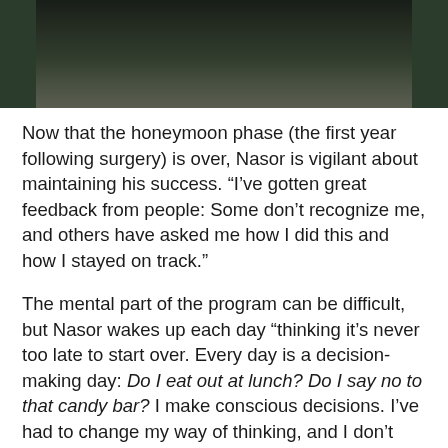[Figure (photo): Partial photo of a person outdoors, cropped to show lower body/torso area against a green background]
Now that the honeymoon phase (the first year following surgery) is over, Nasor is vigilant about maintaining his success. “I’ve gotten great feedback from people: Some don’t recognize me, and others have asked me how I did this and how I stayed on track.”
The mental part of the program can be difficult, but Nasor wakes up each day “thinking it’s never too late to start over. Every day is a decision-making day: Do I eat out at lunch? Do I say no to that candy bar? I make conscious decisions. I’ve had to change my way of thinking, and I don’t plan to allow myself to fail.”